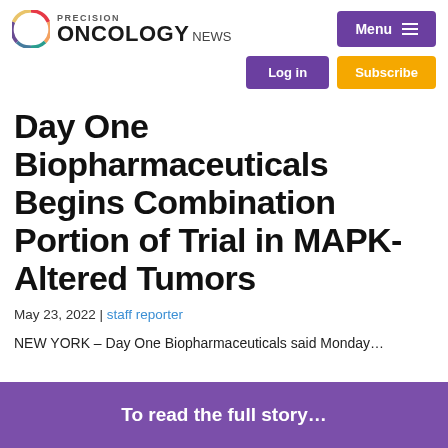PRECISION ONCOLOGY NEWS
Day One Biopharmaceuticals Begins Combination Portion of Trial in MAPK-Altered Tumors
May 23, 2022 | staff reporter
NEW YORK – Day One Biopharmaceuticals said Monday…
To read the full story…